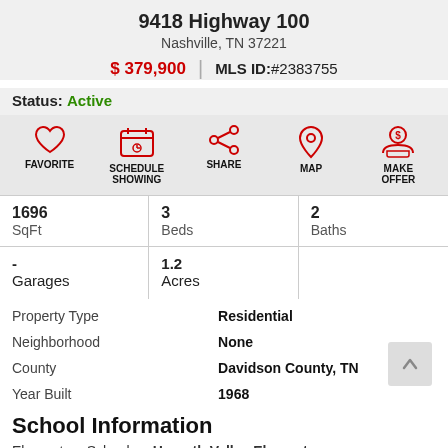9418 Highway 100
Nashville, TN 37221
$ 379,900 | MLS ID:#2383755
Status: Active
[Figure (infographic): Action icons row: FAVORITE (heart), SCHEDULE SHOWING (calendar), SHARE (share), MAP (pin), MAKE OFFER (hand with coin)]
| 1696 | 3 | 2 |
| SqFt | Beds | Baths |
| - | 1.2 |  |
| Garages | Acres |  |
|  |  |
| --- | --- |
| Property Type | Residential |
| Neighborhood | None |
| County | Davidson County, TN |
| Year Built | 1968 |
School Information
Elementary School    Harpeth Valley Elementary